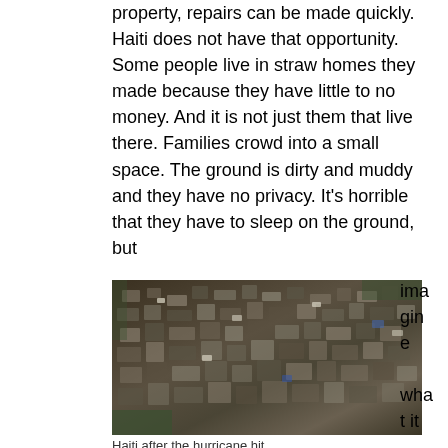property, repairs can be made quickly. Haiti does not have that opportunity. Some people live in straw homes they made because they have little to no money. And it is not just them that live there. Families crowd into a small space. The ground is dirty and muddy and they have no privacy. It's horrible that they have to sleep on the ground, but
[Figure (photo): Aerial photograph showing densely packed destroyed or makeshift homes and rubble in Haiti after a disaster]
imagine what it is like now afte
Haiti after the hurricane hit...